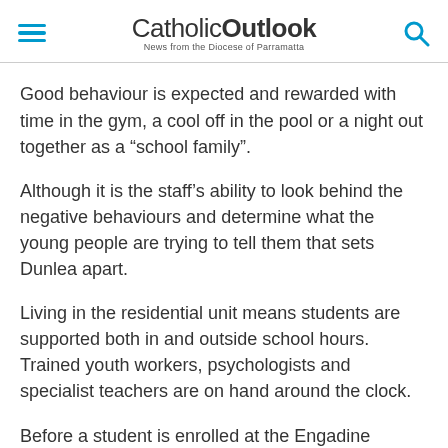CatholicOutlook — News from the Diocese of Parramatta
Good behaviour is expected and rewarded with time in the gym, a cool off in the pool or a night out together as a “school family”.
Although it is the staff’s ability to look behind the negative behaviours and determine what the young people are trying to tell them that sets Dunlea apart.
Living in the residential unit means students are supported both in and outside school hours. Trained youth workers, psychologists and specialist teachers are on hand around the clock.
Before a student is enrolled at the Engadine